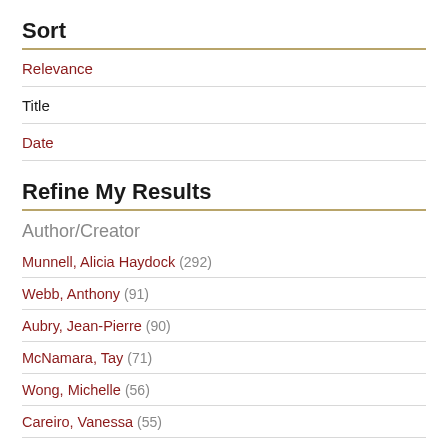Sort
Relevance
Title
Date
Refine My Results
Author/Creator
Munnell, Alicia Haydock (292)
Webb, Anthony (91)
Aubry, Jean-Pierre (90)
McNamara, Tay (71)
Wong, Michelle (56)
Careiro, Vanessa (55)
Show more